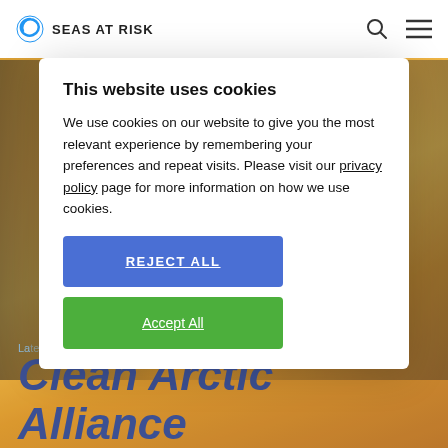SEAS AT RISK
This website uses cookies
We use cookies on our website to give you the most relevant experience by remembering your preferences and repeat visits. Please visit our privacy policy page for more information on how we use cookies.
REJECT ALL
Accept All
Latest News | Clean Arctic Alliance
Clean Arctic Alliance